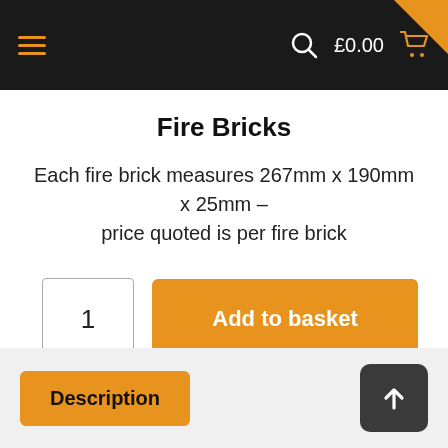£0.00 | navigation header with hamburger menu, search icon, cart
Fire Bricks
Each fire brick measures 267mm x 190mm x 25mm – price quoted is per fire brick
1  Add to basket
Description